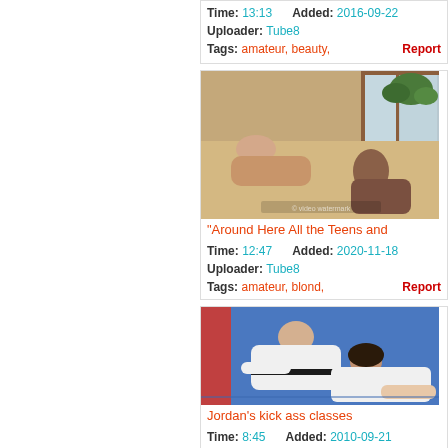Time: 13:13   Added: 2016-09-22
Uploader: Tube8
Tags: amateur, beauty,   Report
[Figure (photo): Video thumbnail showing two people on a bed near a window with a plant]
"Around Here All the Teens and
Time: 12:47   Added: 2020-11-18
Uploader: Tube8
Tags: amateur, blond,   Report
[Figure (photo): Video thumbnail showing two people in white martial arts uniforms (gi) grappling on a blue mat]
Jordan's kick ass classes
Time: 8:45   Added: 2010-09-21
Uploader: Rose